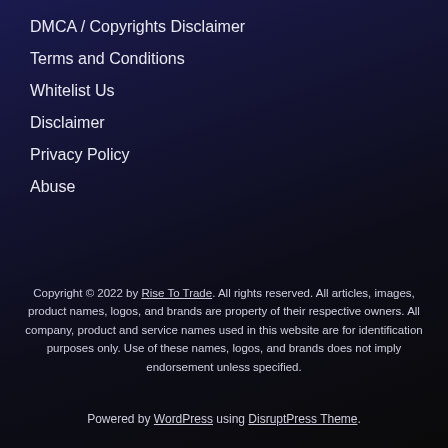DMCA / Copyrights Disclaimer
Terms and Conditions
Whitelist Us
Disclaimer
Privacy Policy
Abuse
Copyright © 2022 by Rise To Trade. All rights reserved. All articles, images, product names, logos, and brands are property of their respective owners. All company, product and service names used in this website are for identification purposes only. Use of these names, logos, and brands does not imply endorsement unless specified.
Powered by WordPress using DisruptPress Theme.